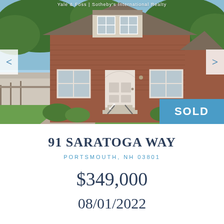[Figure (photo): Exterior photo of a two-story brick Cape Cod style house at 91 Saratoga Way, Portsmouth NH, with green lawn, driveway, and trees. A 'SOLD' banner appears in the bottom-right corner. Navigation arrows on left and right sides. Sotheby's International Realty branding at top.]
91 SARATOGA WAY
PORTSMOUTH, NH 03801
$349,000
08/01/2022